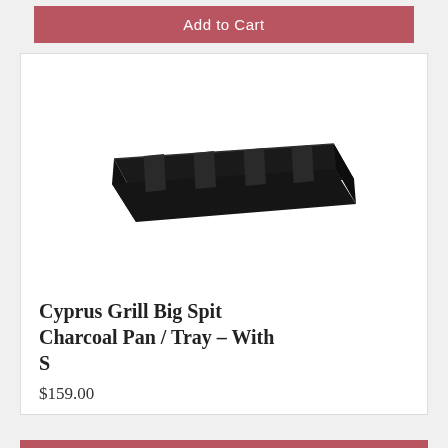Add to Cart
[Figure (photo): A black rectangular charcoal pan/tray with raised ridges, shown in a product listing photo against a white background.]
Cyprus Grill Big Spit Charcoal Pan / Tray - With S
$159.00